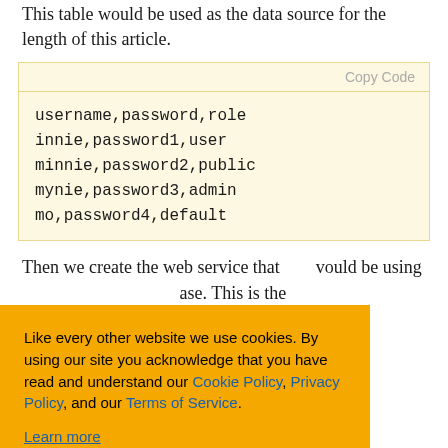This table would be used as the data source for the length of this article.
username,password,role
innie,password1,user
minnie,password2,public
mynie,password3,admin
mo,password4,default
Then we create the web service that would be using ...ase. This is the ...rest of this
[Figure (other): Cookie consent banner with orange background. Text: 'Like every other website we use cookies. By using our site you acknowledge that you have read and understand our Cookie Policy, Privacy Policy, and our Terms of Service. Learn more'. Buttons: 'Ask me later', 'Decline', 'Allow cookies'.]
...hat is used to ...it as a
...hat gives us